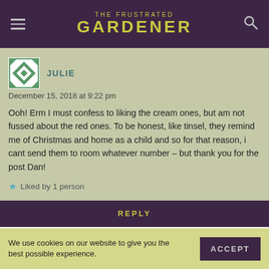THE FRUSTRATED GARDENER
JULIE
December 15, 2018 at 9:22 pm
Ooh! Erm I must confess to liking the cream ones, but am not fussed about the red ones. To be honest, like tinsel, they remind me of Christmas and home as a child and so for that reason, i cant send them to room whatever number – but thank you for the post Dan!
Liked by 1 person
REPLY
We use cookies on our website to give you the best possible experience.